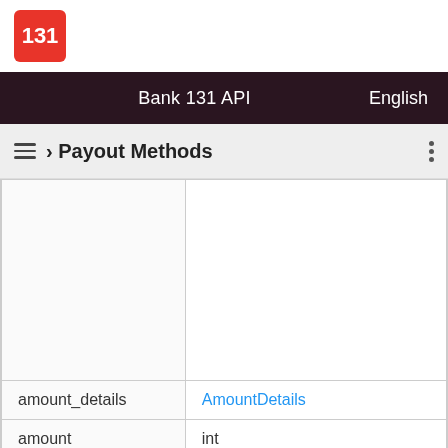[Figure (logo): Bank 131 logo: red square with white text '131']
Bank 131 API    English
› Payout Methods
|  |  |
| amount_details | AmountDetails |
| amount | int |